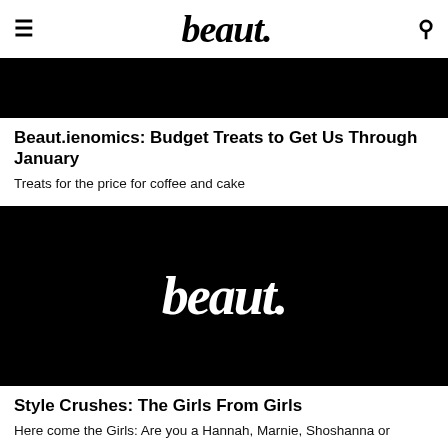beaut.
[Figure (illustration): Black banner image at top of article]
Beaut.ienomics: Budget Treats to Get Us Through January
Treats for the price for coffee and cake
[Figure (logo): Black image with white 'beaut.' logo centered]
Style Crushes: The Girls From Girls
Here come the Girls: Are you a Hannah, Marnie, Shoshanna or